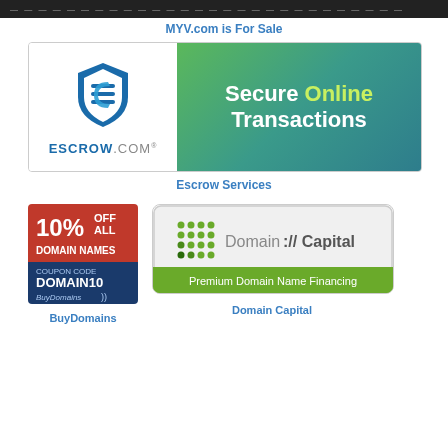MYV.com is For Sale
[Figure (logo): Escrow.com banner with shield logo and 'Secure Online Transactions' text on green gradient background]
Escrow Services
[Figure (logo): BuyDomains advertisement: 10% OFF ALL DOMAIN NAMES, COUPON CODE DOMAIN10]
BuyDomains
[Figure (logo): Domain://Capital - Premium Domain Name Financing]
Domain Capital